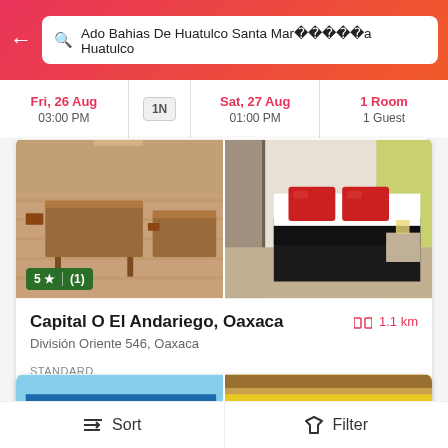Ado Bahias De Huatulco Santa Mar     a Huatulco
Fri, 26 Aug
03:00 PM
1N
Sat, 27 Aug
01:00 PM
1 Room
1 Guest
[Figure (photo): Two hotel room photos side by side: left shows wooden furniture dining area, right shows a bed with red pillows]
5 ★ | (1)
Capital O El Andariego, Oaxaca
1.1 km
División Oriente 546, Oaxaca
STANDARD
MXN663  MXN1172  43% OFF
[Figure (photo): Hotel El Emperradora front sign and Recepcion sign photos side by side]
Sort  Filter